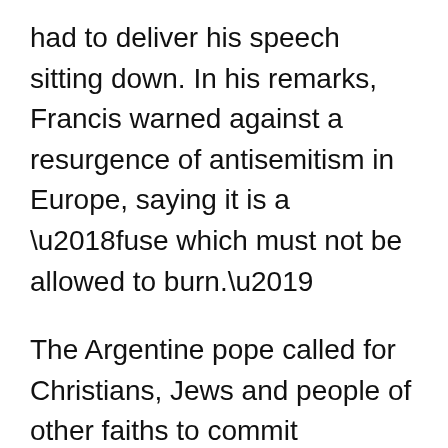had to deliver his speech sitting down. In his remarks, Francis warned against a resurgence of antisemitism in Europe, saying it is a ‘fuse which must not be allowed to burn.’
The Argentine pope called for Christians, Jews and people of other faiths to commit themselves to promoting greater fraternity ‘so that outbursts of hatred that would destroy that fraternity will never prevail.’
Hungary´s large Jewish population was devastated during the closing months of World War II, with more than 550,000 Jewish deaths. More